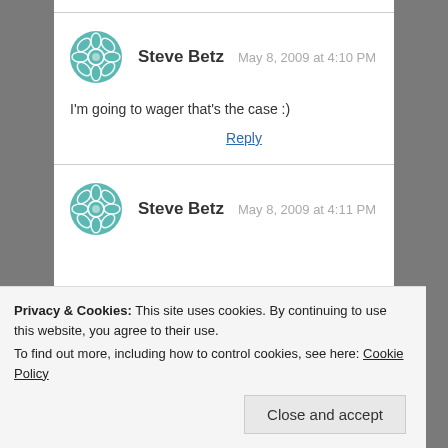Steve Betz   May 8, 2009 at 4:10 PM
I'm going to wager that's the case :)
Reply
Steve Betz   May 8, 2009 at 4:11 PM
Privacy & Cookies: This site uses cookies. By continuing to use this website, you agree to their use.
To find out more, including how to control cookies, see here: Cookie Policy
Close and accept